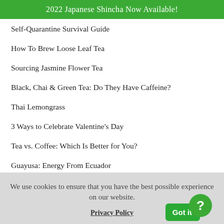2022 Japanese Shincha Now Available!
Self-Quarantine Survival Guide
How To Brew Loose Leaf Tea
Sourcing Jasmine Flower Tea
Black, Chai & Green Tea: Do They Have Caffeine?
Thai Lemongrass
3 Ways to Celebrate Valentine's Day
Tea vs. Coffee: Which Is Better for You?
Guayusa: Energy From Ecuador
We use cookies to ensure that you have the best possible experience on our website.
Privacy Policy | Got it